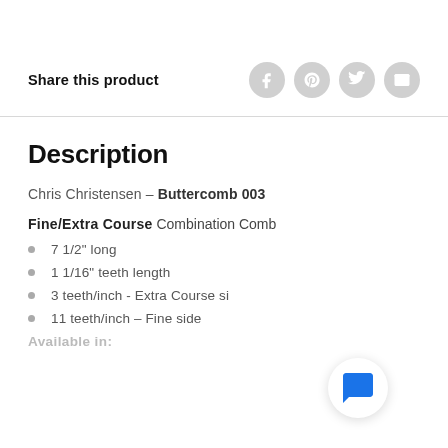Share this product
Description
Chris Christensen - Buttercomb 003
Fine/Extra Course Combination Comb
7 1/2" long
1 1/16" teeth length
3 teeth/inch - Extra Course si
11 teeth/inch - Fine side
Available in: